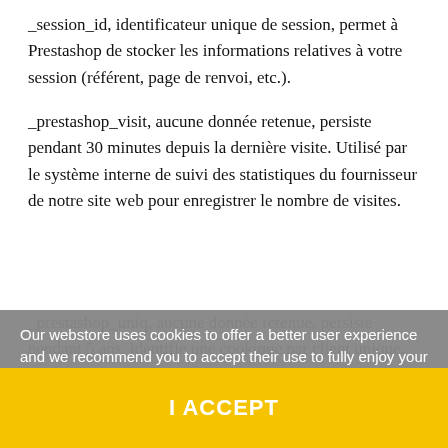_session_id, identificateur unique de session, permet à Prestashop de stocker les informations relatives à votre session (référent, page de renvoi, etc.).
_prestashop_visit, aucune donnée retenue, persiste pendant 30 minutes depuis la dernière visite. Utilisé par le système interne de suivi des statistiques du fournisseur de notre site web pour enregistrer le nombre de visites.
_prestashop_uniq, aucune donnée retenue, ... (partiellement obscured by cookie banner)
Our webstore uses cookies to offer a better user experience and we recommend you to accept their use to fully enjoy your navigation. More information customize cookies
I ACCEPT